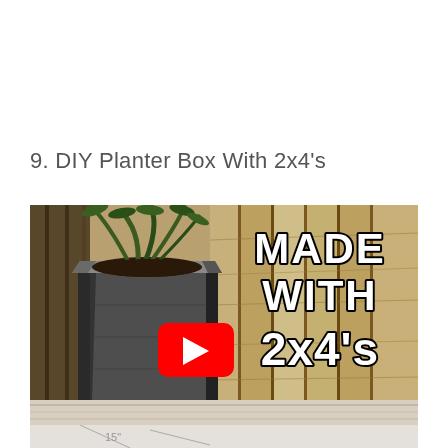9. DIY Planter Box With 2x4's
[Figure (screenshot): YouTube video thumbnail showing a dark gray wooden planter box made from 2x4 boards, with green plant inside, set against a wooden fence background. Text overlay reads 'MADE WITH 2x4's' in bold white with black outline. Red YouTube play button in center.]